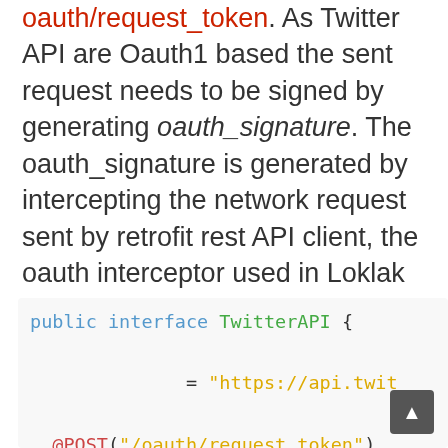oauth/request_token. As Twitter API are Oauth1 based the sent request needs to be signed by generating oauth_signature. The oauth_signature is generated by intercepting the network request sent by retrofit rest API client, the oauth interceptor used in Loklak Wok Android is a modified version of this snippet. The retrofit TwitterAPI interface is defined
[Figure (screenshot): Code block showing Java interface definition: public interface TwitterAPI { ... = "https://api.twit... @POST("/oauth/request_token") < > getRequest... @FormUrlEncoded @POST("/oauth/access_token")]